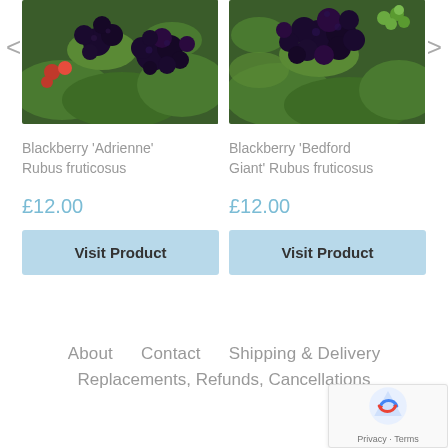[Figure (photo): Blackberry plant with dark ripe berries and green leaves, top-left product image]
Blackberry 'Adrienne' Rubus fruticosus
£12.00
Visit Product
[Figure (photo): Blackberry plant with clusters of ripe dark berries, top-right product image]
Blackberry 'Bedford Giant' Rubus fruticosus
£12.00
Visit Product
About   Contact   Shipping & Delivery
Replacements, Refunds, Cancellations